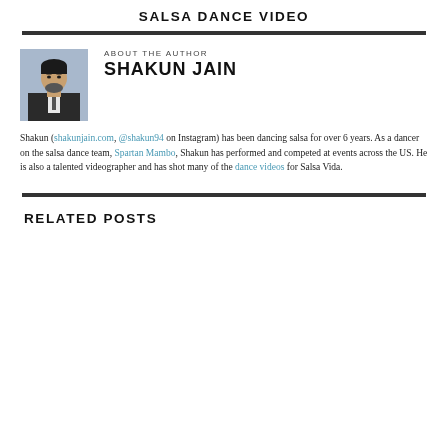SALSA DANCE VIDEO
[Figure (photo): Headshot photo of Shakun Jain, a man in a dark suit with a beard, against a blurred outdoor background]
ABOUT THE AUTHOR
SHAKUN JAIN
Shakun (shakunjain.com, @shakun94 on Instagram) has been dancing salsa for over 6 years. As a dancer on the salsa dance team, Spartan Mambo, Shakun has performed and competed at events across the US. He is also a talented videographer and has shot many of the dance videos for Salsa Vida.
RELATED POSTS